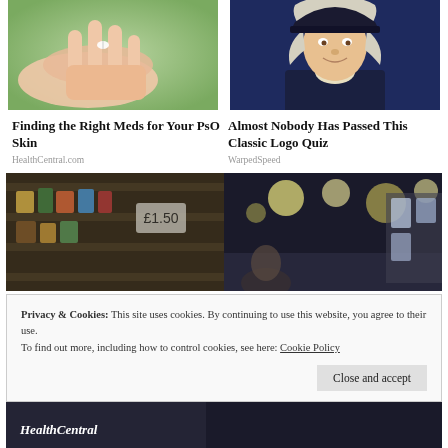[Figure (photo): Close-up of hands with pills or small objects, green blurred background]
[Figure (photo): Illustrated colonial-era figure wearing tricorn hat and white wig, dark jacket]
Finding the Right Meds for Your PsO Skin
HealthCentral.com
Almost Nobody Has Passed This Classic Logo Quiz
WarpedSpeed
[Figure (photo): Split wide image: left side shows store shelves with products, right side shows blurred store aisle with bokeh lights]
Privacy & Cookies: This site uses cookies. By continuing to use this website, you agree to their use.
To find out more, including how to control cookies, see here: Cookie Policy
Close and accept
[Figure (photo): Bottom strip showing partial image with HealthCentral text overlay]